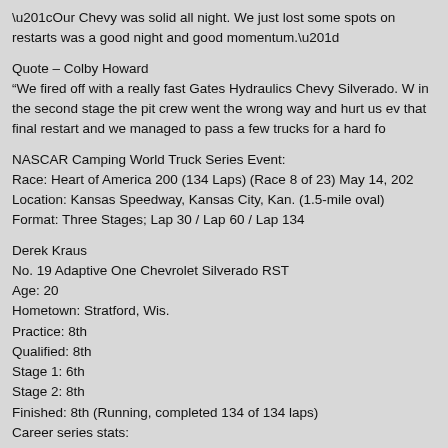“Our Chevy was solid all night. We just lost some spots on restarts was a good night and good momentum.”
Quote – Colby Howard
“We fired off with a really fast Gates Hydraulics Chevy Silverado. W in the second stage the pit crew went the wrong way and hurt us ev that final restart and we managed to pass a few trucks for a hard fo
NASCAR Camping World Truck Series Event:
Race: Heart of America 200 (134 Laps) (Race 8 of 23) May 14, 202
Location: Kansas Speedway, Kansas City, Kan. (1.5-mile oval)
Format: Three Stages; Lap 30 / Lap 60 / Lap 134
Derek Kraus
No. 19 Adaptive One Chevrolet Silverado RST
Age: 20
Hometown: Stratford, Wis.
Practice: 8th
Qualified: 8th
Stage 1: 6th
Stage 2: 8th
Finished: 8th (Running, completed 134 of 134 laps)
Career series stats: